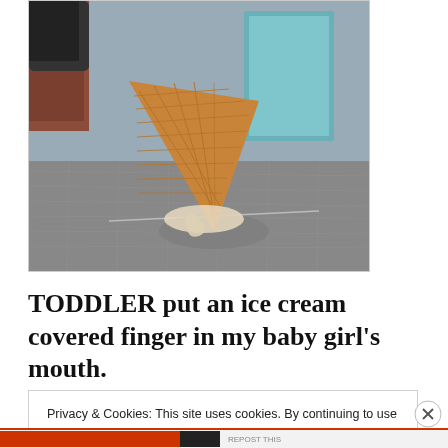[Figure (photo): A dropped ice cream cone lying on cobblestone pavement, with the scoop melted onto the ground. A blue painted door and brick building are visible in the background.]
TODDLER put an ice cream covered finger in my baby girl's mouth.
Privacy & Cookies: This site uses cookies. By continuing to use this website, you agree to their use.
To find out more, including how to control cookies, see here: Cookie Policy